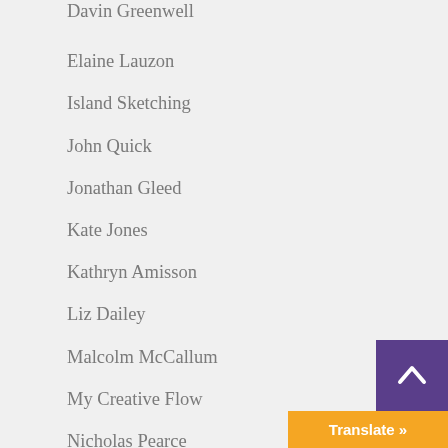Davin Greenwell
Elaine Lauzon
Island Sketching
John Quick
Jonathan Gleed
Kate Jones
Kathryn Amisson
Liz Dailey
Malcolm McCallum
My Creative Flow
Nicholas Pearce
The Community Arts Council of